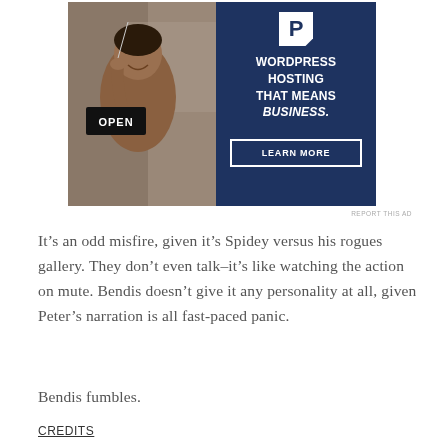[Figure (photo): Advertisement for WordPress Hosting featuring a smiling woman holding an OPEN sign, with dark navy background showing 'WORDPRESS HOSTING THAT MEANS BUSINESS.' and a LEARN MORE button]
REPORT THIS AD
It’s an odd misfire, given it’s Spidey versus his rogues gallery. They don’t even talk–it’s like watching the action on mute. Bendis doesn’t give it any personality at all, given Peter’s narration is all fast-paced panic.
Bendis fumbles.
CREDITS